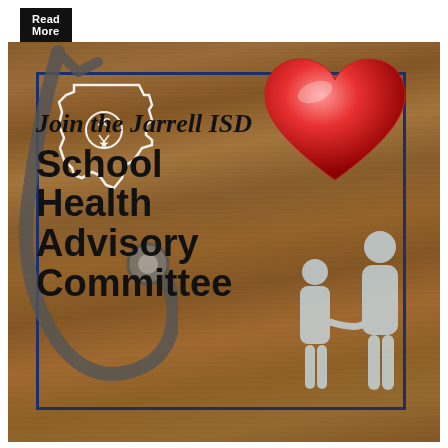Read More
[Figure (photo): Promotional image for Jarrell ISD School Health Advisory Committee. Background shows a wooden table surface with a red heart model and a stethoscope. Overlaid text reads 'Join the Jarrell ISD School Health Advisory Committee' with a Texas state outline/logo and white family silhouette. The image is framed with a dark navy blue border.]